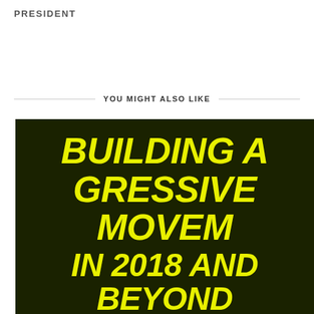PRESIDENT
YOU MIGHT ALSO LIKE
[Figure (illustration): Event poster with dark green/black background. Bold yellow italic text reads 'BUILDING A PROGRESSIVE MOVEMENT IN 2018 AND BEYOND'. Below in white: 'COFFEE & CONVERSATION WITH NA TURNER & ANDRU VOLINSK' and 'SATURDAY JUNE 30TH']